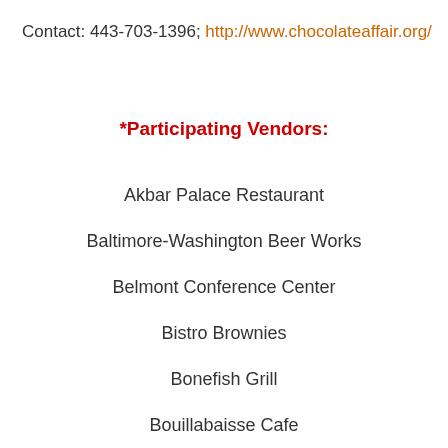Contact: 443-703-1396; http://www.chocolateaffair.org/
*Participating Vendors:
Akbar Palace Restaurant
Baltimore-Washington Beer Works
Belmont Conference Center
Bistro Brownies
Bonefish Grill
Bouillabaisse Cafe
CakeLove
Canton Dockside